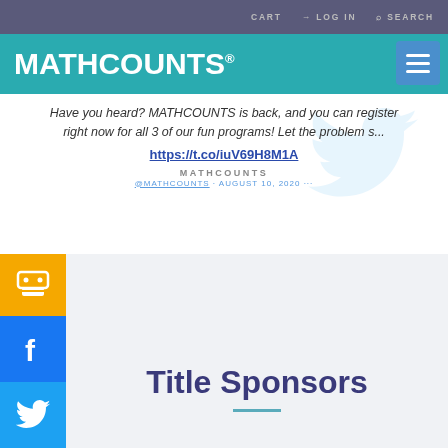CART   LOG IN   SEARCH
MATHCOUNTS®
[Figure (screenshot): Twitter/X card embed showing a MATHCOUNTS tweet with text: Have you heard? MATHCOUNTS is back, and you can register right now for all 3 of our fun programs! Let the problem s... with link https://t.co/iuV69H8M1A and Twitter bird watermark, MATHCOUNTS account name]
[Figure (infographic): Social media sidebar with yellow share button, blue Facebook button, blue Twitter button, and red Pinterest button on the left side]
Title Sponsors
[Figure (logo): Partial Raytheon logo text visible at bottom of page]